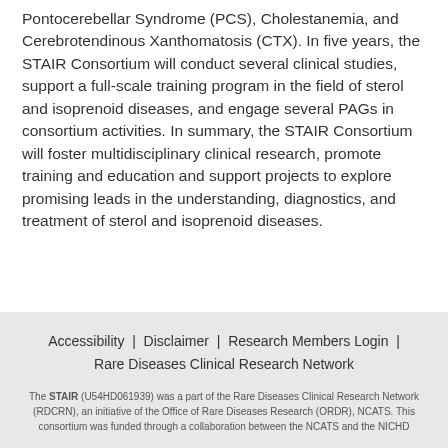Pontocerebellar Syndrome (PCS), Cholestanemia, and Cerebrotendinous Xanthomatosis (CTX). In five years, the STAIR Consortium will conduct several clinical studies, support a full-scale training program in the field of sterol and isoprenoid diseases, and engage several PAGs in consortium activities. In summary, the STAIR Consortium will foster multidisciplinary clinical research, promote training and education and support projects to explore promising leads in the understanding, diagnostics, and treatment of sterol and isoprenoid diseases.
Accessibility | Disclaimer | Research Members Login | Rare Diseases Clinical Research Network

The STAIR (U54HD061939) was a part of the Rare Diseases Clinical Research Network (RDCRN), an initiative of the Office of Rare Diseases Research (ORDR), NCATS. This consortium was funded through a collaboration between the NCATS and the NICHD